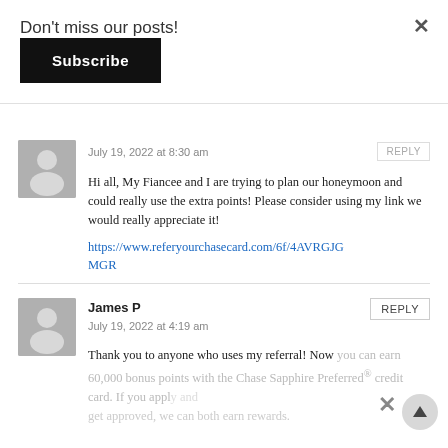Don't miss our posts!
Subscribe
July 19, 2022 at 8:30 am
Hi all, My Fiancee and I are trying to plan our honeymoon and could really use the extra points! Please consider using my link we would really appreciate it!
https://www.referyourchasecard.com/6f/4AVRGJGMGR
James P
July 19, 2022 at 4:19 am
Thank you to anyone who uses my referral! Now you can earn 60,000 bonus points with the Chase Sapphire Preferred® credit card. If you apply and get approved, we can both earn rewards.